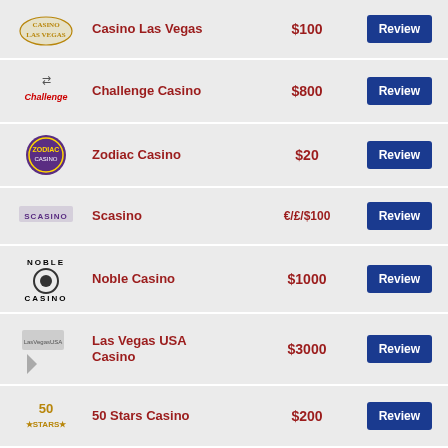| Logo | Casino Name | Bonus | Action |
| --- | --- | --- | --- |
| [Casino Las Vegas logo] | Casino Las Vegas | $100 | Review |
| [Challenge Casino logo] | Challenge Casino | $800 | Review |
| [Zodiac Casino logo] | Zodiac Casino | $20 | Review |
| [Scasino logo] | Scasino | €/£/$100 | Review |
| [Noble Casino logo] | Noble Casino | $1000 | Review |
| [Las Vegas USA Casino logo] | Las Vegas USA Casino | $3000 | Review |
| [50 Stars Casino logo] | 50 Stars Casino | $200 | Review |